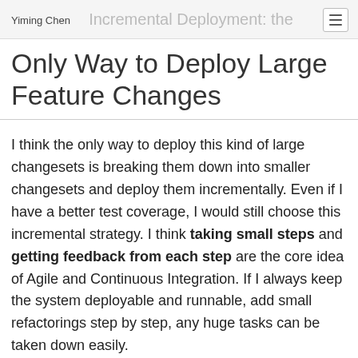Yiming Chen — Incremental Deployment: the Only Way to Deploy Large Feature Changes
Only Way to Deploy Large Feature Changes
I think the only way to deploy this kind of large changesets is breaking them down into smaller changesets and deploy them incrementally. Even if I have a better test coverage, I would still choose this incremental strategy. I think taking small steps and getting feedback from each step are the core idea of Agile and Continuous Integration. If I always keep the system deployable and runnable, add small refactorings step by step, any huge tasks can be taken down easily.